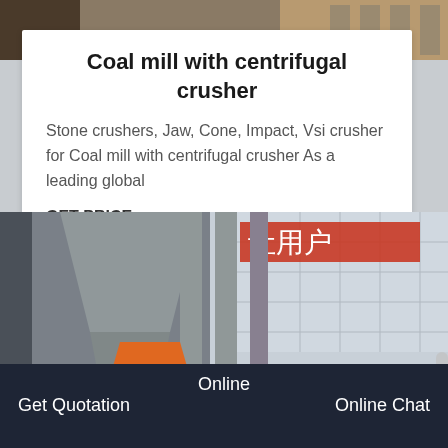[Figure (photo): Top portion of industrial machinery or equipment, partially visible]
Coal mill with centrifugal crusher
Stone crushers, Jaw, Cone, Impact, Vsi crusher for Coal mill with centrifugal crusher As a leading global
GET PRICE
[Figure (photo): Industrial facility with grey metal hopper/chute structure and orange component, with Chinese signage on building in background]
Get Quotation   Online   Online Chat